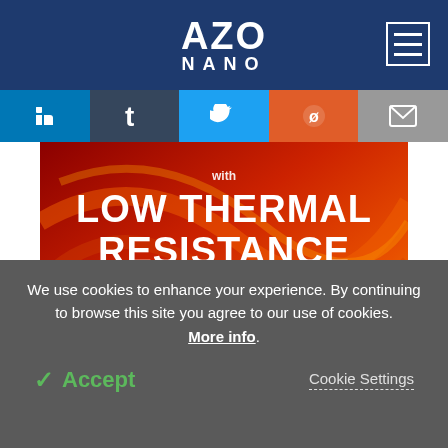AZO NANO
[Figure (logo): AZO NANO website header logo with navigation hamburger menu]
[Figure (infographic): Master Bond advertisement: LOW THERMAL RESISTANCE - ULTRA THIN BOND LINES - HIGH THERMAL CONDUCTIVITY - MASTERBOND ADHESIVES | SEALANTS | COATINGS]
We use cookies to enhance your experience. By continuing to browse this site you agree to our use of cookies. More info.
Accept
Cookie Settings